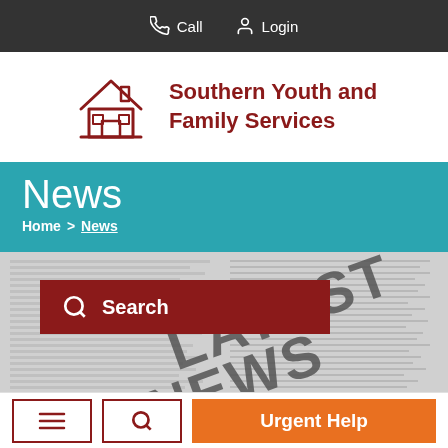Call  Login
[Figure (logo): Southern Youth and Family Services logo — house icon with text]
News
Home > News
[Figure (photo): Newspaper with 'LATEST NEWS' text, with a dark red Search button overlay]
Search
Urgent Help